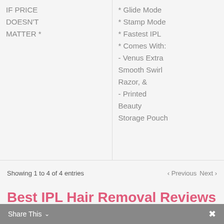IF PRICE DOESN'T MATTER *
* Glide Mode
* Stamp Mode
* Fastest IPL
* Comes With:
- Venus Extra Smooth Swirl Razor, &
- Printed Beauty Storage Pouch
Showing 1 to 4 of 4 entries
‹ Previous  Next ›
Best IPL Hair Removal Reviews Australia 2022
Share This ∨